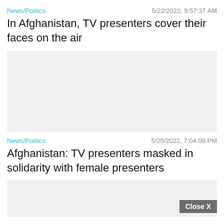News/Politics   5/22/2022, 9:57:37 AM
In Afghanistan, TV presenters cover their faces on the air
[Figure (photo): Gray placeholder image area for first article]
News/Politics   5/25/2022, 7:04:08 PM
Afghanistan: TV presenters masked in solidarity with female presenters
[Figure (photo): Gray placeholder image area for second article with Close X button overlay]